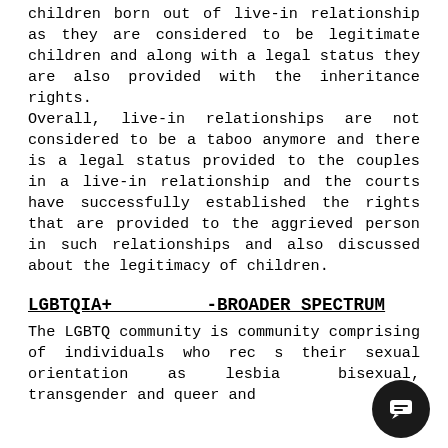children born out of live-in relationship as they are considered to be legitimate children and along with a legal status they are also provided with the inheritance rights. Overall, live-in relationships are not considered to be a taboo anymore and there is a legal status provided to the couples in a live-in relationship and the courts have successfully established the rights that are provided to the aggrieved person in such relationships and also discussed about the legitimacy of children.
LGBTQIA+ -BROADER SPECTRUM
The LGBTQ community is community comprising of individuals who recognizes their sexual orientation as lesbian, bisexual, transgender and queer and